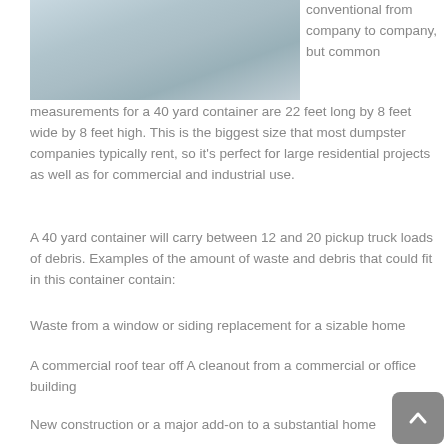[Figure (photo): Photo of a concrete or asphalt surface with faded texture, likely a dumpster or container top]
conventional from company to company, but common measurements for a 40 yard container are 22 feet long by 8 feet wide by 8 feet high. This is the biggest size that most dumpster companies typically rent, so it's perfect for large residential projects as well as for commercial and industrial use.
A 40 yard container will carry between 12 and 20 pickup truck loads of debris. Examples of the amount of waste and debris that could fit in this container contain:
Waste from a window or siding replacement for a sizable home
A commercial roof tear off A cleanout from a commercial or office building
New construction or a major add-on to a substantial home
Large levels of demolition debris, paper, cardboard and garbage